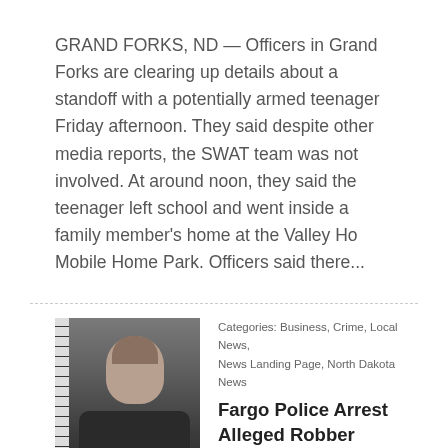GRAND FORKS, ND — Officers in Grand Forks are clearing up details about a standoff with a potentially armed teenager Friday afternoon. They said despite other media reports, the SWAT team was not involved. At around noon, they said the teenager left school and went inside a family member's home at the Valley Ho Mobile Home Park. Officers said there...
[Figure (photo): Mugshot of a young male suspect against a height ruler backdrop]
Categories: Business, Crime, Local News, News Landing Page, North Dakota News
Fargo Police Arrest Alleged Robber Armed with a Big Stick
HE GOT INTO A FIGHT WITH THE CLERK BEFORE FLEEING THE STORE